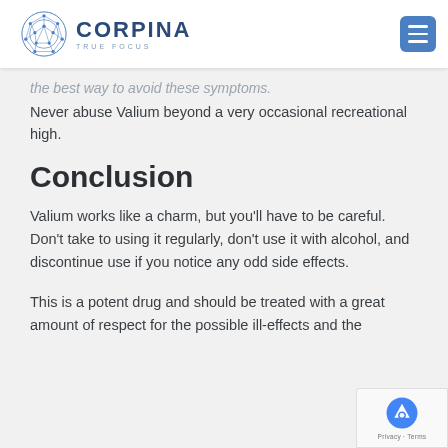CORPINA TRUE FOCUS
the best way to avoid these symptoms. Never abuse Valium beyond a very occasional recreational high.
Conclusion
Valium works like a charm, but you’ll have to be careful. Don’t take to using it regularly, don’t use it with alcohol, and discontinue use if you notice any odd side effects.
This is a potent drug and should be treated with a great amount of respect for the possible ill-effects and the